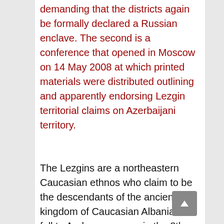demanding that the districts again be formally declared a Russian enclave. The second is a conference that opened in Moscow on 14 May 2008 at which printed materials were distributed outlining and apparently endorsing Lezgin territorial claims on Azerbaijani territory.
The Lezgins are a northeastern Caucasian ethnos who claim to be the descendants of the ancient kingdom of Caucasian Albania that fell to Arab conquerors in the 8th century A.D. Their historic homeland was divided in 1860 between two gubernias of Tsarist Russia, Daghestan, which in 1918 remained part of Russia, and Shemakha, which formed part of the shortlived Azerbaijan Democratic Republic that was subsumed into Soviet Russia in 1920. The border between the two entities, which since the